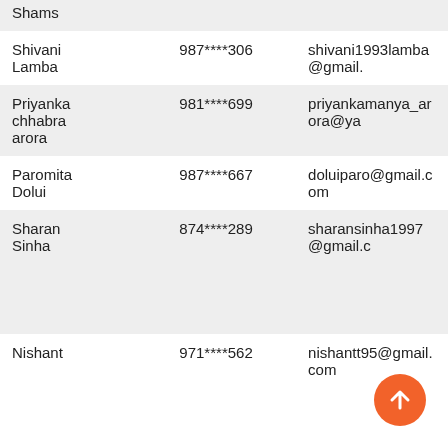| Name | Phone | Email |
| --- | --- | --- |
| Shams |  |  |
| Shivani Lamba | 987****306 | shivani1993lamba@gmail. |
| Priyanka chhabra arora | 981****699 | priyankamanya_arora@ya |
| Paromita Dolui | 987****667 | doluiparo@gmail.com |
| Sharan Sinha | 874****289 | sharansinha1997@gmail.c |
| Nishant | 971****562 | nishantt95@gmail.com |